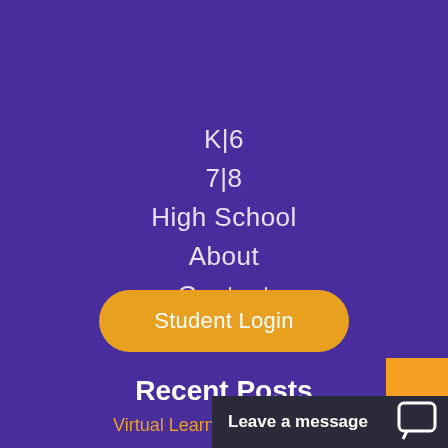K|6
7|8
High School
About
Contact
Blog
Student Login
Recent Posts
Virtual Learning: What Is It?
Jan
Leave a message